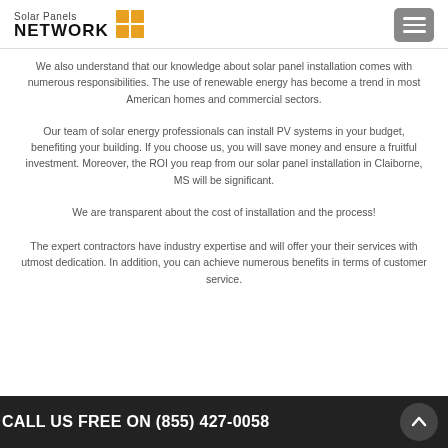Solar Panels NETWORK
We also understand that our knowledge about solar panel installation comes with numerous responsibilities. The use of renewable energy has become a trend in most American homes and commercial sectors.
Our team of solar energy professionals can install PV systems in your budget, benefiting your building. If you choose us, you will save money and ensure a fruitful investment. Moreover, the ROI you reap from our solar panel installation in Claiborne, MS will be significant.
We are transparent about the cost of installation and the process!
The expert contractors have industry expertise and will offer your their services with utmost dedication. In addition, you can achieve numerous benefits in terms of customer service.
CALL US FREE ON (855) 427-0058